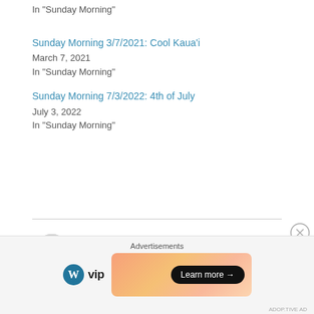In "Sunday Morning"
Sunday Morning 3/7/2021: Cool Kauaʻi
March 7, 2021
In "Sunday Morning"
Sunday Morning 7/3/2022: 4th of July
July 3, 2022
In "Sunday Morning"
[Figure (photo): Circular avatar photo of a person in front of a landmark with water]
Advertisements
[Figure (logo): WordPress VIP logo with W circle icon and 'vip' text]
[Figure (illustration): Orange/peach gradient ad banner with 'Learn more' button]